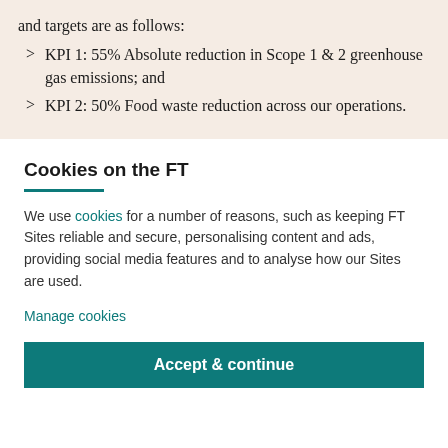and targets are as follows:
KPI 1: 55% Absolute reduction in Scope 1 & 2 greenhouse gas emissions; and
KPI 2: 50% Food waste reduction across our operations.
Cookies on the FT
We use cookies for a number of reasons, such as keeping FT Sites reliable and secure, personalising content and ads, providing social media features and to analyse how our Sites are used.
Manage cookies
Accept & continue